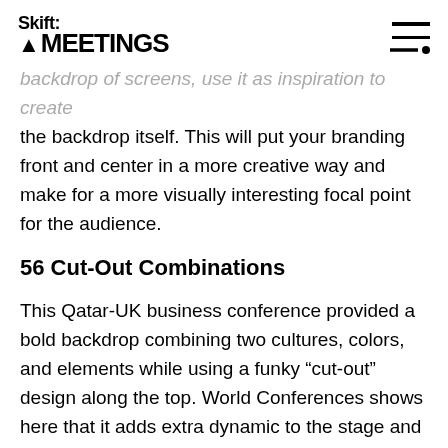Skift MEETINGS
backdrop of screens, use it as inspiration to create the backdrop itself. This will put your branding front and center in a more creative way and make for a more visually interesting focal point for the audience.
56 Cut-Out Combinations
This Qatar-UK business conference provided a bold backdrop combining two cultures, colors, and elements while using a funky “cut-out” design along the top. World Conferences shows here that it adds extra dynamic to the stage and provides interest.